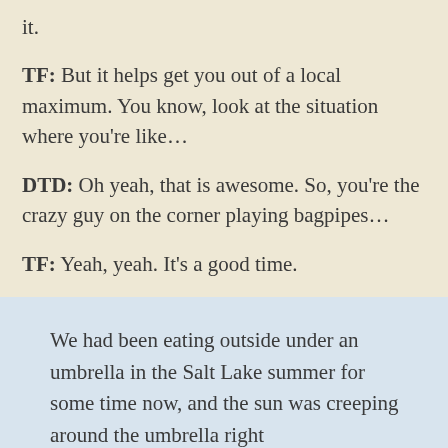it.
TF: But it helps get you out of a local maximum. You know, look at the situation where you're like…
DTD: Oh yeah, that is awesome. So, you're the crazy guy on the corner playing bagpipes…
TF: Yeah, yeah. It's a good time.
We had been eating outside under an umbrella in the Salt Lake summer for some time now, and the sun was creeping around the umbrella right